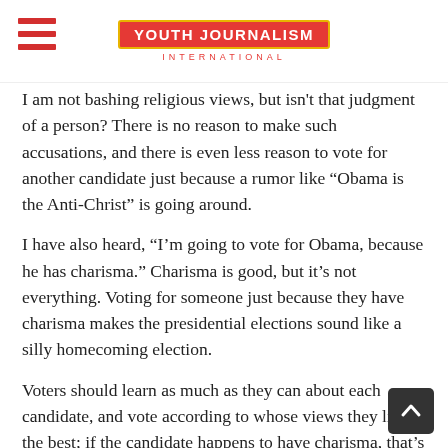YOUTH JOURNALISM INTERNATIONAL
I am not bashing religious views, but isn't that judgment of a person? There is no reason to make such accusations, and there is even less reason to vote for another candidate just because a rumor like “Obama is the Anti-Christ” is going around.
I have also heard, “I’m going to vote for Obama, because he has charisma.” Charisma is good, but it’s not everything. Voting for someone just because they have charisma makes the presidential elections sound like a silly homecoming election.
Voters should learn as much as they can about each candidate, and vote according to whose views they like the best; if the candidate happens to have charisma, that’s just an added bonus.
These are, obviously, not good reasons to vote or not vote for a candidate. Does it really matter what the